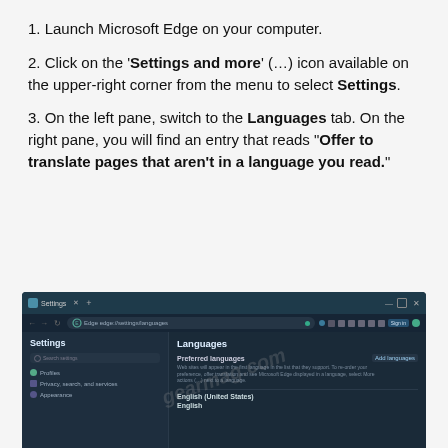1. Launch Microsoft Edge on your computer.
2. Click on the 'Settings and more' (...) icon available on the upper-right corner from the menu to select Settings.
3. On the left pane, switch to the Languages tab. On the right pane, you will find an entry that reads "Offer to translate pages that aren’t in a language you read."
[Figure (screenshot): Screenshot of Microsoft Edge browser Settings page open to the Languages tab, showing Preferred languages section with English (United States) and English listed, and an Add languages button.]